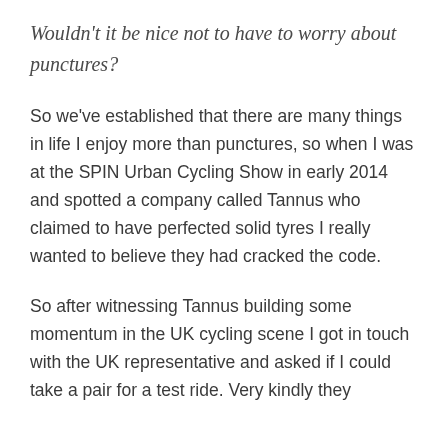Wouldn't it be nice not to have to worry about punctures?
So we've established that there are many things in life I enjoy more than punctures, so when I was at the SPIN Urban Cycling Show in early 2014 and spotted a company called Tannus who claimed to have perfected solid tyres I really wanted to believe they had cracked the code.
So after witnessing Tannus building some momentum in the UK cycling scene I got in touch with the UK representative and asked if I could take a pair for a test ride. Very kindly they